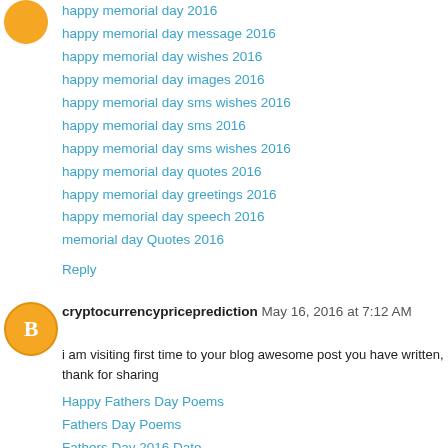happy memorial day 2016
happy memorial day message 2016
happy memorial day wishes 2016
happy memorial day images 2016
happy memorial day sms wishes 2016
happy memorial day sms 2016
happy memorial day sms wishes 2016
happy memorial day quotes 2016
happy memorial day greetings 2016
happy memorial day speech 2016
memorial day Quotes 2016
Reply
cryptocurrencypriceprediction May 16, 2016 at 7:12 AM
i am visiting first time to your blog awesome post you have written, thank for sharing
Happy Fathers Day Poems
Fathers Day Poems
Fathers Day 2016 Date
Happy Fathers Day
Fathers Day 2016 Poems